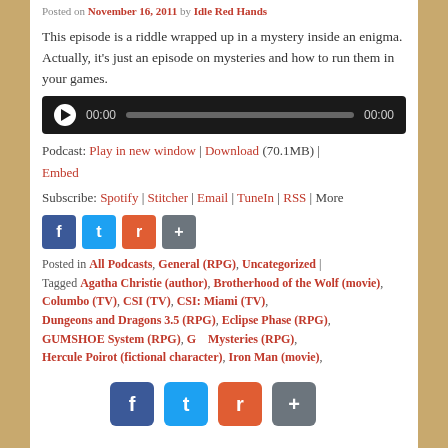Posted on November 16, 2011 by Idle Red Hands
This episode is a riddle wrapped up in a mystery inside an enigma. Actually, it's just an episode on mysteries and how to run them in your games.
[Figure (other): Audio player widget with play button, time display 00:00, progress bar, and duration 00:00 on dark background]
Podcast: Play in new window | Download (70.1MB) | Embed
Subscribe: Spotify | Stitcher | Email | TuneIn | RSS | More
[Figure (other): Social share icons: Facebook, Twitter, Reddit, Share]
Posted in All Podcasts, General (RPG), Uncategorized | Tagged Agatha Christie (author), Brotherhood of the Wolf (movie), Columbo (TV), CSI (TV), CSI: Miami (TV), Dungeons and Dragons 3.5 (RPG), Eclipse Phase (RPG), GUMSHOE System (RPG), Gumshoe Mysteries (RPG), Hercule Poirot (fictional character), Iron Man (movie),
[Figure (other): Overlapping social share icons (Facebook, Twitter, Reddit, Share+) displayed large at bottom of page]